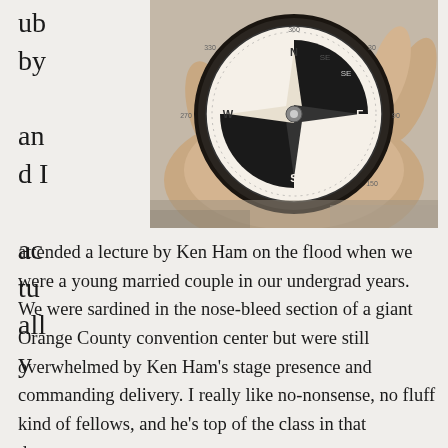ub by an d I ac tu all y
[Figure (photo): A close-up photograph of a hand holding a compass against a blurred rocky background. The compass has a black and white dial with cardinal directions marked.]
attended a lecture by Ken Ham on the flood when we were a young married couple in our undergrad years. We were sardined in the nose-bleed section of a giant Orange County convention center but were still overwhelmed by Ken Ham’s stage presence and commanding delivery. I really like no-nonsense, no fluff kind of fellows, and he’s top of the class in that department.

Although my hubby and I both grew up in churches,